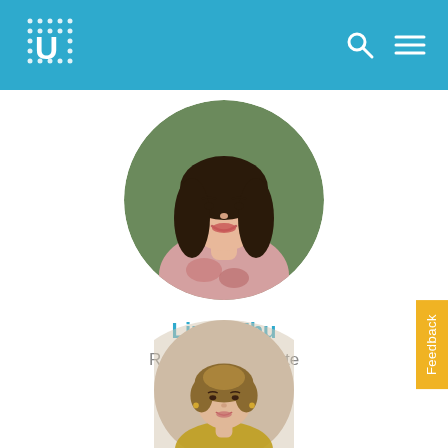[Figure (logo): Urban Institute logo - dotted U pattern on blue header bar]
[Figure (photo): Round profile photo of Linna Zhu, a young woman with long dark hair, smiling]
Linna Zhu
Research Associate
[Figure (photo): Round profile photo of a woman with short blonde-brown hair, smiling, wearing earrings]